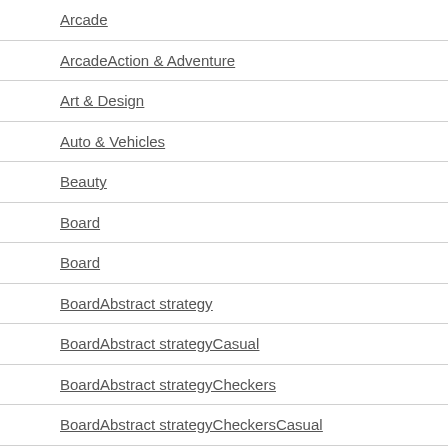Arcade
ArcadeAction & Adventure
Art & Design
Auto & Vehicles
Beauty
Board
Board
BoardAbstract strategy
BoardAbstract strategyCasual
BoardAbstract strategyCheckers
BoardAbstract strategyCheckersCasual
BoardAbstract strategyChess
BoardAbstract strategyChess...